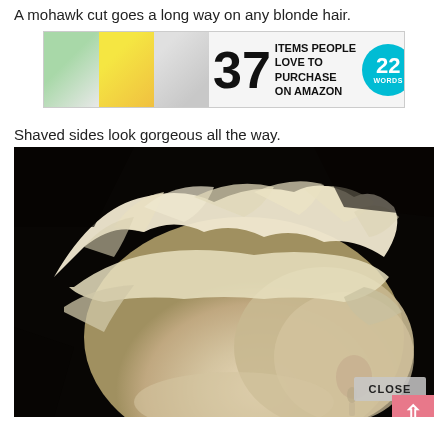A mohawk cut goes a long way on any blonde hair.
[Figure (screenshot): Advertisement banner: '37 ITEMS PEOPLE LOVE TO PURCHASE ON AMAZON' with '22 WORDS' circle logo and product images]
Shaved sides look gorgeous all the way.
[Figure (photo): Close-up photo of a person with platinum blonde mohawk hairstyle with shaved sides, viewed from the back/side angle. A 'CLOSE' button overlay is visible in the lower right, along with a pink scroll-to-top button.]